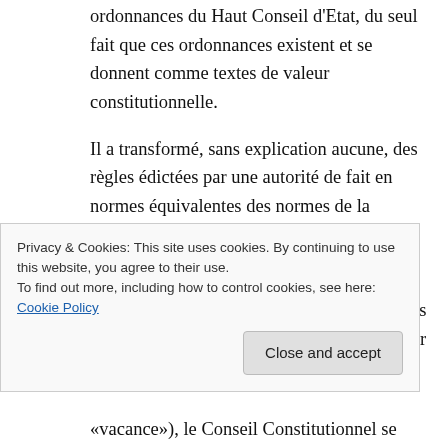ordonnances du Haut Conseil d'Etat, du seul fait que ces ordonnances existent et se donnent comme textes de valeur constitutionnelle.
Il a transformé, sans explication aucune, des règles édictées par une autorité de fait en normes équivalentes des normes de la Constitution.
Ce glissement du fait au droit, perceptible dans les visas de la décision, se renforce dans les motifs de celle-ci. En effet, pour constater ce
Privacy & Cookies: This site uses cookies. By continuing to use this website, you agree to their use.
To find out more, including how to control cookies, see here: Cookie Policy
«vacance»), le Conseil Constitutionnel se